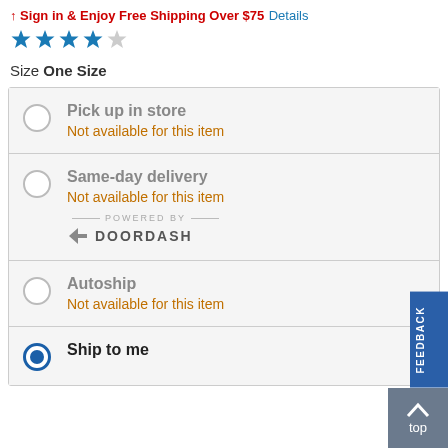Sign in & Enjoy Free Shipping Over $75
Details
[Figure (other): 4-star rating with 4 filled blue stars and 1 grey star]
Size One Size
Pick up in store - Not available for this item
Same-day delivery - Not available for this item - Powered by DoorDash
Autoship - Not available for this item
Ship to me